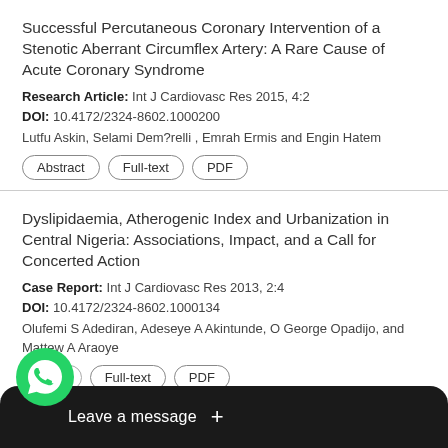Successful Percutaneous Coronary Intervention of a Stenotic Aberrant Circumflex Artery: A Rare Cause of Acute Coronary Syndrome
Research Article: Int J Cardiovasc Res 2015, 4:2
DOI: 10.4172/2324-8602.1000200
Lutfu Askin, Selami Dem?relli , Emrah Ermis and Engin Hatem
Abstract | Full-text | PDF
Dyslipidaemia, Atherogenic Index and Urbanization in Central Nigeria: Associations, Impact, and a Call for Concerted Action
Case Report: Int J Cardiovasc Res 2013, 2:4
DOI: 10.4172/2324-8602.1000134
Olufemi S Adediran, Adeseye A Akintunde, O George Opadijo, and Mattew A Araoye
Abstract | Full-text | PDF
Post… c Resynchronization The…